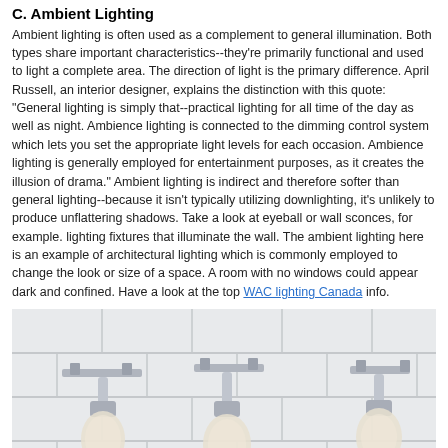C. Ambient Lighting
Ambient lighting is often used as a complement to general illumination. Both types share important characteristics--they're primarily functional and used to light a complete area. The direction of light is the primary difference. April Russell, an interior designer, explains the distinction with this quote: "General lighting is simply that--practical lighting for all time of the day as well as night. Ambience lighting is connected to the dimming control system which lets you set the appropriate light levels for each occasion. Ambience lighting is generally employed for entertainment purposes, as it creates the illusion of drama." Ambient lighting is indirect and therefore softer than general lighting--because it isn't typically utilizing downlighting, it's unlikely to produce unflattering shadows. Take a look at eyeball or wall sconces, for example. lighting fixtures that illuminate the wall. The ambient lighting here is an example of architectural lighting which is commonly employed to change the look or size of a space. A room with no windows could appear dark and confined. Have a look at the top WAC lighting Canada info.
[Figure (photo): Photo of chrome bathroom vanity light fixtures mounted on a white subway tile wall, showing three lamp holders with chrome arms and globe-shaped frosted bulbs.]